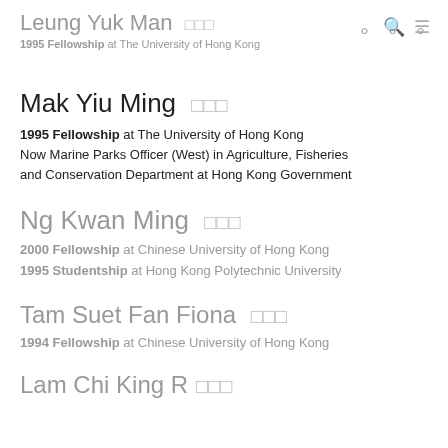Leung Yuk Man 梁玉文
1995 Fellowship at The University of Hong Kong
Mak Yiu Ming 麥耀明
1995 Fellowship at The University of Hong Kong
Now Marine Parks Officer (West) in Agriculture, Fisheries and Conservation Department at Hong Kong Government
Ng Kwan Ming 吳均明
2000 Fellowship at Chinese University of Hong Kong
1995 Studentship at Hong Kong Polytechnic University
Tam Suet Fan Fiona 譚雪芬
1994 Fellowship at Chinese University of Hong Kong
Lam Chi King R...